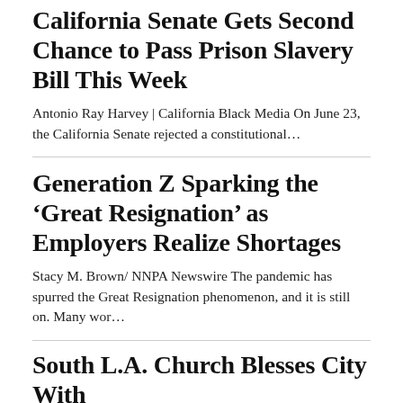California Senate Gets Second Chance to Pass Prison Slavery Bill This Week
Antonio Ray Harvey | California Black Media On June 23, the California Senate rejected a constitutional…
Generation Z Sparking the ‘Great Resignation’ as Employers Realize Shortages
Stacy M. Brown/ NNPA Newswire The pandemic has spurred the Great Resignation phenomenon, and it is still on. Many wor…
South L.A. Church Blesses City With